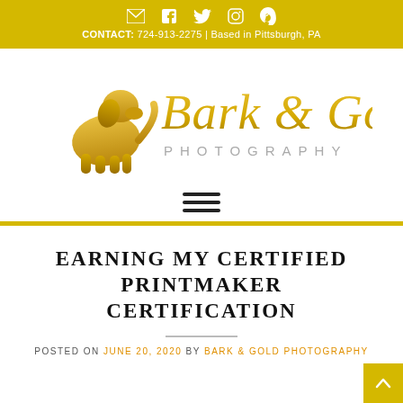CONTACT: 724-913-2275 | Based in Pittsburgh, PA
[Figure (logo): Bark & Gold Photography logo with golden retriever silhouette and script text]
[Figure (other): Hamburger menu icon (three horizontal lines)]
EARNING MY CERTIFIED PRINTMAKER CERTIFICATION
POSTED ON JUNE 20, 2020 BY BARK & GOLD PHOTOGRAPHY